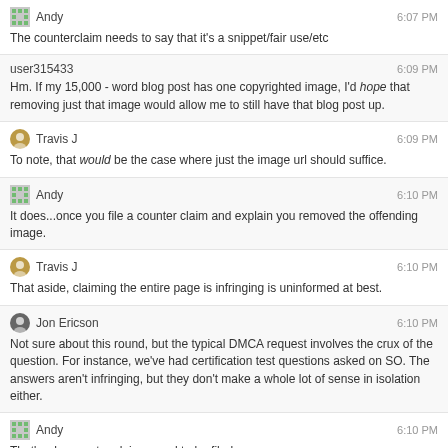Andy 6:07 PM
The counterclaim needs to say that it's a snippet/fair use/etc
user315433 6:09 PM
Hm. If my 15,000 - word blog post has one copyrighted image, I'd hope that removing just that image would allow me to still have that blog post up.
Travis J 6:09 PM
To note, that would be the case where just the image url should suffice.
Andy 6:10 PM
It does...once you file a counter claim and explain you removed the offending image.
Travis J 6:10 PM
That aside, claiming the entire page is infringing is uninformed at best.
Jon Ericson 6:10 PM
Not sure about this round, but the typical DMCA request involves the crux of the question. For instance, we've had certification test questions asked on SO. The answers aren't infringing, but they don't make a whole lot of sense in isolation either.
Andy 6:10 PM
That's why counter claims need to be filed.
Travis J 6:12 PM
If the claim is not explicit, then it can be rejected as not properly identifying the infringing material.